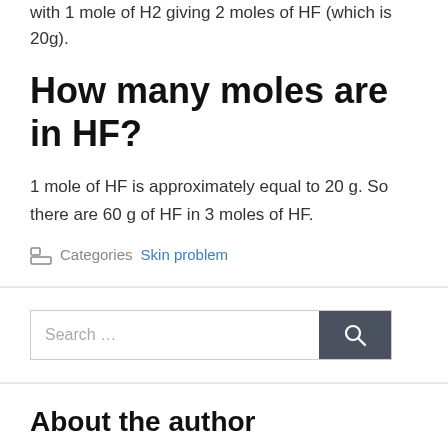with 1 mole of H2 giving 2 moles of HF (which is 20g).
How many moles are in HF?
1 mole of HF is approximately equal to 20 g. So there are 60 g of HF in 3 moles of HF.
Categories: Skin problem
Search …
About the author